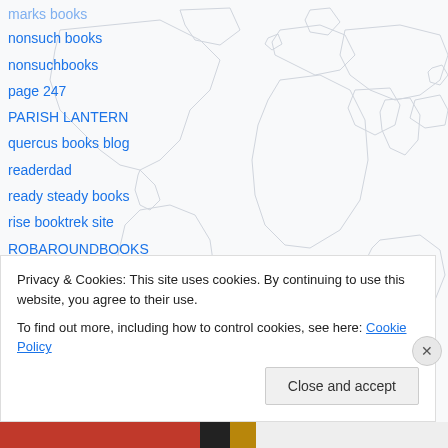[Figure (map): World map background with country outlines in light gray/white on white background]
marks books
nonsuch books
nonsuchbooks
page 247
PARISH LANTERN
quercus books blog
readerdad
ready steady books
rise booktrek site
ROBAROUNDBOOKS
solarbridge
the blue bookcase
the editors notebook
things mean a lot
Privacy & Cookies: This site uses cookies. By continuing to use this website, you agree to their use.
To find out more, including how to control cookies, see here: Cookie Policy
Close and accept